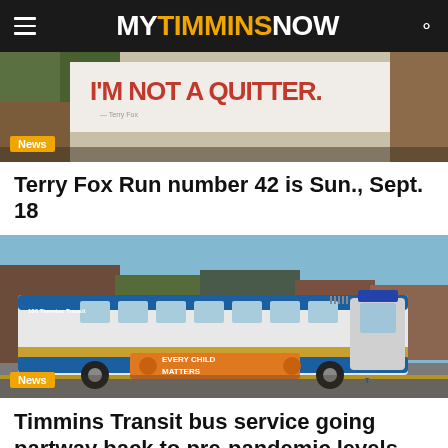MY TIMMINS NOW
[Figure (photo): Sign reading I'M NOT A QUITTER with a News badge overlay]
Terry Fox Run number 42 is Sun., Sept. 18
[Figure (photo): Timmins Transit bus on street with 'Every Child Matters' wrap and a News badge overlay]
Timmins Transit bus service going partway back to pre-pandemic levels